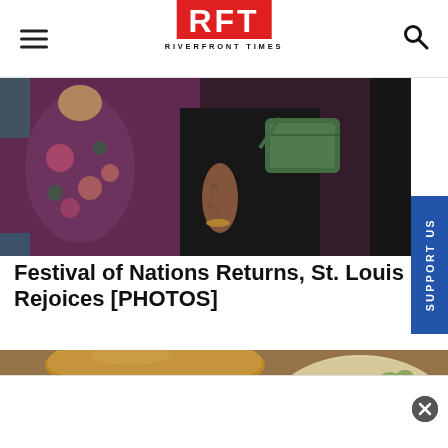RFT RIVERFRONT TIMES
[Figure (photo): Photo of festival attendees at Festival of Nations — a woman in a floral purple top and another person in black with tattoos and a green crossbody bag]
Festival of Nations Returns, St. Louis Rejoices [PHOTOS]
[Figure (photo): Close-up photo of a sandwich or slider topped with coleslaw, with a bowl of potato salad in the background]
[Figure (other): Advertisement overlay at bottom of page with close (X) button]